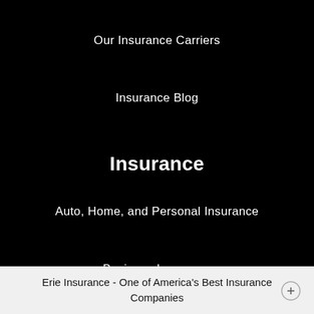Our Insurance Carriers
Insurance Blog
Insurance
Auto, Home, and Personal Insurance
Business Insurance
Life Insurance
Erie Insurance - One of America's Best Insurance Companies